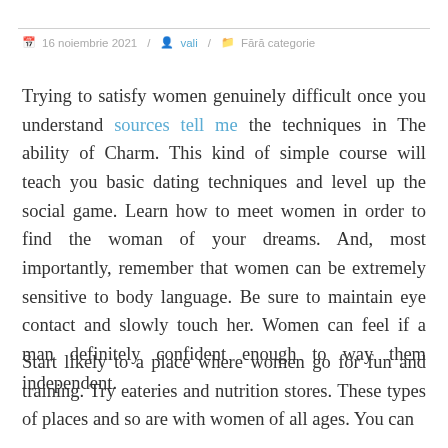16 noiembrie 2021 / vali / Fără categorie
Trying to satisfy women genuinely difficult once you understand sources tell me the techniques in The ability of Charm. This kind of simple course will teach you basic dating techniques and level up the social game. Learn how to meet women in order to find the woman of your dreams. And, most importantly, remember that women can be extremely sensitive to body language. Be sure to maintain eye contact and slowly touch her. Women can feel if a man definitely confident enough to way them independent.
Start likely to a place where women go for fun and training. Try eateries and nutrition stores. These types of places and so are with women of all ages. You can